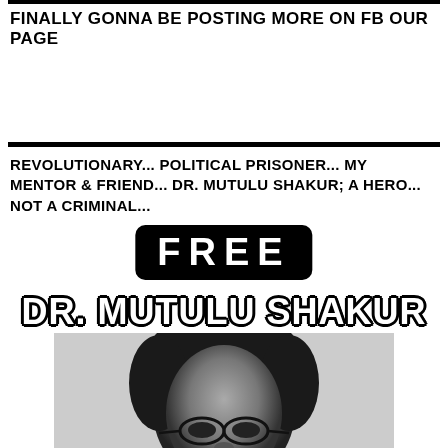FINALLY GONNA BE POSTING MORE ON FB OUR PAGE
REVOLUTIONARY... POLITICAL PRISONER... MY MENTOR & FRIEND... DR. MUTULU SHAKUR; A HERO... NOT A CRIMINAL...
[Figure (infographic): Black and white protest image reading FREE DR. MUTULU SHAKUR with a portrait photo of Dr. Mutulu Shakur below]